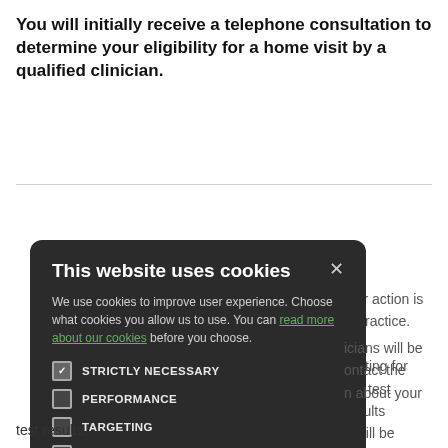You will initially receive a telephone consultation to determine your eligibility for a home visit by a qualified clinician.
[Figure (screenshot): Cookie consent modal overlay on a dark rounded-rectangle background. Contains title 'This website uses cookies', body text about cookie usage with a link 'read more about our cookies', four checkbox options (STRICTLY NECESSARY checked, PERFORMANCE unchecked, TARGETING unchecked, FUNCTIONALITY unchecked), and two buttons: 'ACCEPT ALL' (green filled) and 'DECLINE ALL' (outlined).]
ther action is e Practice. We waiting for our test results u will be icians will be ontact the n about your test results.